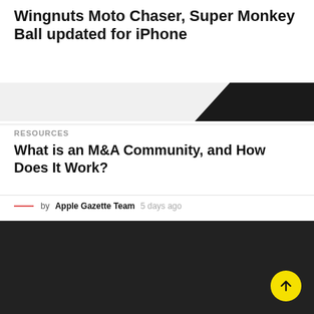Wingnuts Moto Chaser, Super Monkey Ball updated for iPhone
[Figure (photo): Partial image strip with dark triangular element on right side]
RESOURCES
What is an M&A Community, and How Does It Work?
by Apple Gazette Team 5 days ago
NEWS  LIFESTYLE  TIPS  PRIVACY POLICY & CONDITIONS
© 2022 All Rights Reserved